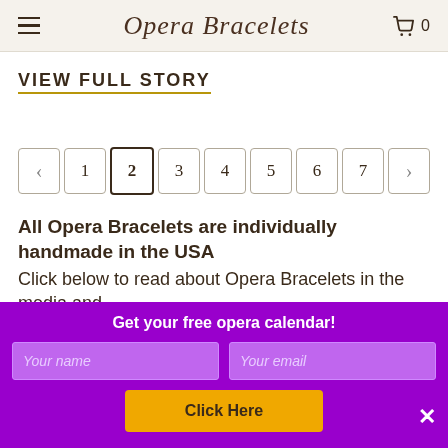Opera Bracelets — cart: 0
VIEW FULL STORY
[Figure (other): Pagination control with previous arrow, pages 1–7, and next arrow. Page 2 is currently active/selected.]
All Opera Bracelets are individually handmade in the USA
Click below to read about Opera Bracelets in the media and
Get your free opera calendar!
Your name | Your email
Click Here